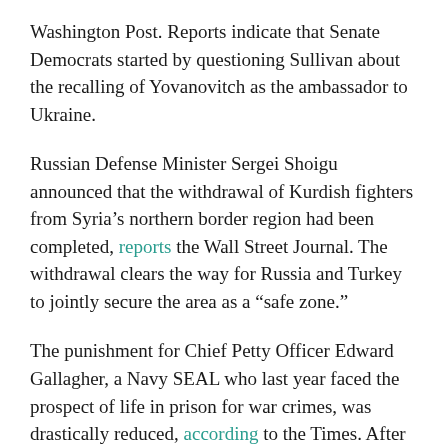Washington Post. Reports indicate that Senate Democrats started by questioning Sullivan about the recalling of Yovanovitch as the ambassador to Ukraine.
Russian Defense Minister Sergei Shoigu announced that the withdrawal of Kurdish fighters from Syria's northern border region had been completed, reports the Wall Street Journal. The withdrawal clears the way for Russia and Turkey to jointly secure the area as a “safe zone.”
The punishment for Chief Petty Officer Edward Gallagher, a Navy SEAL who last year faced the prospect of life in prison for war crimes, was drastically reduced, according to the Times. After President Trump’s public criticism of the court-martial against Gallagher, the Navy’s top admiral merely demoted Gallagher by a single rank on Tuesday.